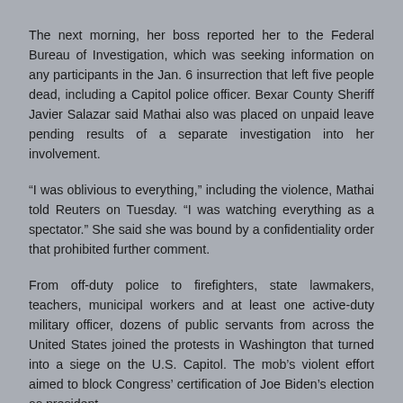The next morning, her boss reported her to the Federal Bureau of Investigation, which was seeking information on any participants in the Jan. 6 insurrection that left five people dead, including a Capitol police officer. Bexar County Sheriff Javier Salazar said Mathai also was placed on unpaid leave pending results of a separate investigation into her involvement.
“I was oblivious to everything,” including the violence, Mathai told Reuters on Tuesday. “I was watching everything as a spectator.” She said she was bound by a confidentiality order that prohibited further comment.
From off-duty police to firefighters, state lawmakers, teachers, municipal workers and at least one active-duty military officer, dozens of public servants from across the United States joined the protests in Washington that turned into a siege on the U.S. Capitol. The mob’s violent effort aimed to block Congress’ certification of Joe Biden’s election as president.